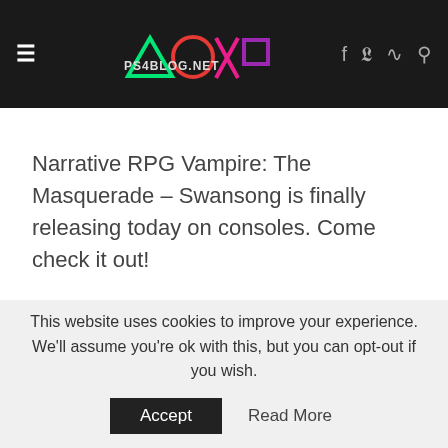PS4Blog.net
Narrative RPG Vampire: The Masquerade – Swansong is finally releasing today on consoles. Come check it out!
This website uses cookies to improve your experience. We'll assume you're ok with this, but you can opt-out if you wish. Accept  Read More